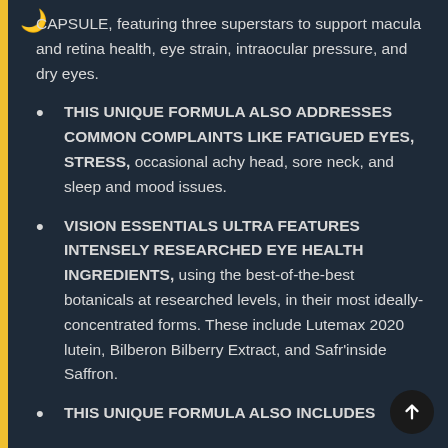CAPSULE, featuring three superstars to support macula and retina health, eye strain, intraocular pressure, and dry eyes.
THIS UNIQUE FORMULA ALSO ADDRESSES COMMON COMPLAINTS LIKE FATIGUED EYES, STRESS, occasional achy head, sore neck, and sleep and mood issues.
VISION ESSENTIALS ULTRA FEATURES INTENSELY RESEARCHED EYE HEALTH INGREDIENTS, using the best-of-the-best botanicals at researched levels, in their most ideally-concentrated forms. These include Lutemax 2020 lutein, Bilberon Bilberry Extract, and Safr'inside Saffron.
THIS UNIQUE FORMULA ALSO INCLUDES